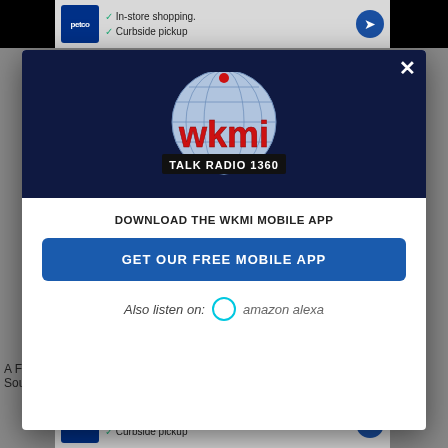[Figure (screenshot): Petco advertisement banner showing In-store shopping and Curbside pickup with logo and navigation arrow]
[Figure (logo): WKMI Talk Radio 1360 logo with globe and red text on dark navy background]
DOWNLOAD THE WKMI MOBILE APP
GET OUR FREE MOBILE APP
Also listen on: amazon alexa
A Floo... Southw...
[Figure (screenshot): Petco advertisement banner at the bottom showing In-store shopping and Curbside pickup]